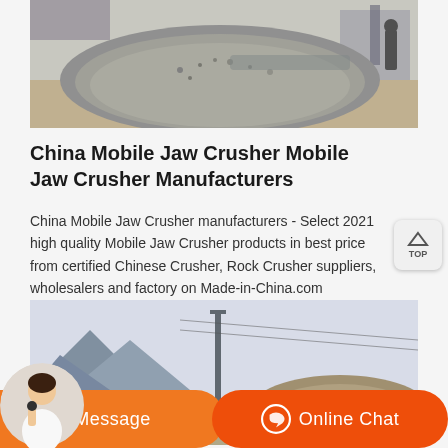[Figure (photo): Pile of crushed stone/gravel aggregate at a quarry or construction site, with machinery and a person visible in the background.]
China Mobile Jaw Crusher Mobile Jaw Crusher Manufacturers
China Mobile Jaw Crusher manufacturers - Select 2021 high quality Mobile Jaw Crusher products in best price from certified Chinese Crusher, Rock Crusher suppliers, wholesalers and factory on Made-in-China.com
[Figure (photo): Mining/quarry site with machinery and mountains in the background, partially visible.]